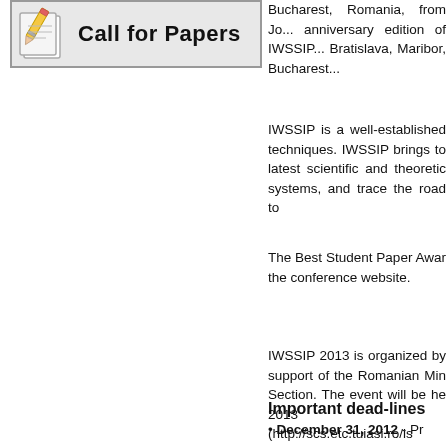[Figure (illustration): Call for Papers banner with paper/pencil icon on grey background]
Bucharest, Romania, from J... anniversary edition of IWSSIP... Bratislava, Maribor, Bucharest...
IWSSIP is a well-established... techniques. IWSSIP brings to... latest scientific and theoretic... systems, and trace the road to...
The Best Student Paper Awar... the conference website.
IWSSIP 2013 is organized by... support of the Romanian Min... Section. The event will be he... 2013 (http://scs.etc.tuiasi.ro/is...
Important dead-lines
December 31, 2012 - Pr...